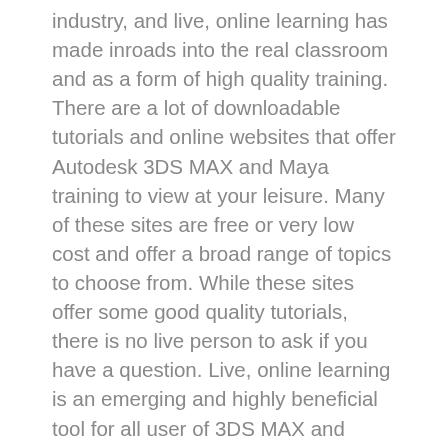industry, and live, online learning has made inroads into the real classroom and as a form of high quality training. There are a lot of downloadable tutorials and online websites that offer Autodesk 3DS MAX and Maya training to view at your leisure. Many of these sites are free or very low cost and offer a broad range of topics to choose from. While these sites offer some good quality tutorials, there is no live person to ask if you have a question. Live, online learning is an emerging and highly beneficial tool for all user of 3DS MAX and Maya software. With the unique ability to work interactively with an instructor, ask questions and learn just as if you were in a real classroom. The 3D Professor offers classes starting at one hour plus a half hour of dedicated Q & A time with the instructor and attendance can costs as low as $50 per person, live, online training offers a high return on your training investment of both time and money. The 3D